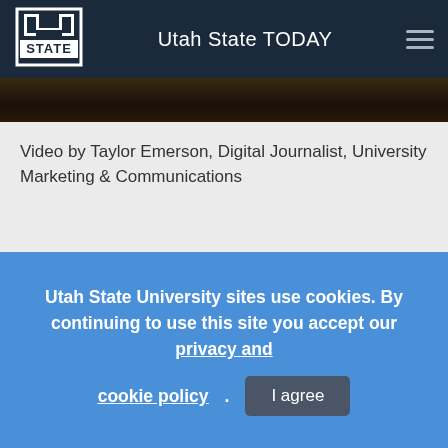Utah State TODAY
[Figure (photo): Dark image strip showing part of a video thumbnail]
Video by Taylor Emerson, Digital Journalist, University Marketing & Communications
A few USU students are spending this summer hiking the
Utah State University sites use cookies. By continuing to use this site you accept our privacy and cookie policy. I agree